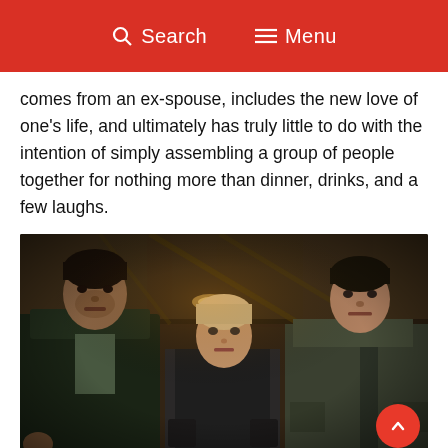Search  Menu
comes from an ex-spouse, includes the new love of one's life, and ultimately has truly little to do with the intention of simply assembling a group of people together for nothing more than dinner, drinks, and a few laughs.
[Figure (photo): Three young people (two men and a woman) standing in a dark interior room, looking toward the camera with serious expressions. Film still from Don't Breathe (2016).]
DON'T BREATHE (2016)